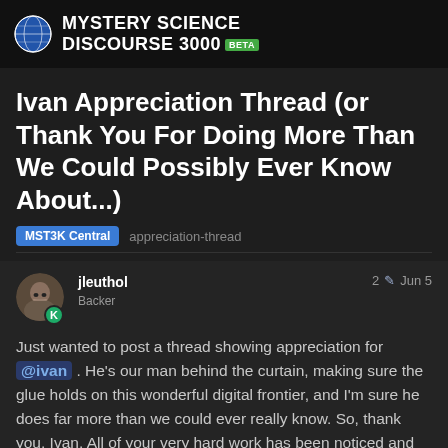MYSTERY SCIENCE DISCOURSE 3000 BETA
Ivan Appreciation Thread (or Thank You For Doing More Than We Could Possibly Ever Know About...)
MST3K Central  appreciation-thread
jleuthol  Backer  2  Jun 5
Just wanted to post a thread showing appreciation for @ivan . He's our man behind the curtain, making sure the glue holds on this wonderful digital frontier, and I'm sure he does far more than we could ever really know. So, thank you, Ivan. All of your very hard work has been noticed and appreciated (even and maybe especially when it didn't seem like it). I hope you always take time to have fun, because that's ultimately what we're all here for.
1 / 31